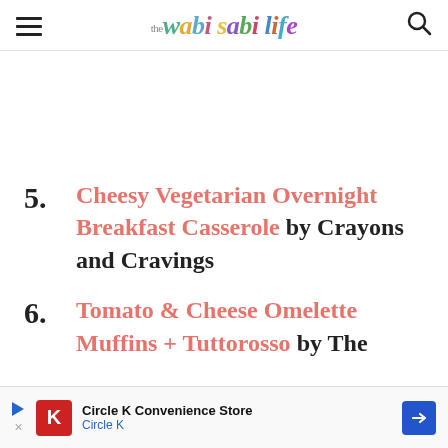The Wabi Sabi Life
5. Cheesy Vegetarian Overnight Breakfast Casserole by Crayons and Cravings
6. Tomato & Cheese Omelette Muffins + Tuttorosso by The
[Figure (other): Circle K Convenience Store advertisement banner at the bottom of the page]